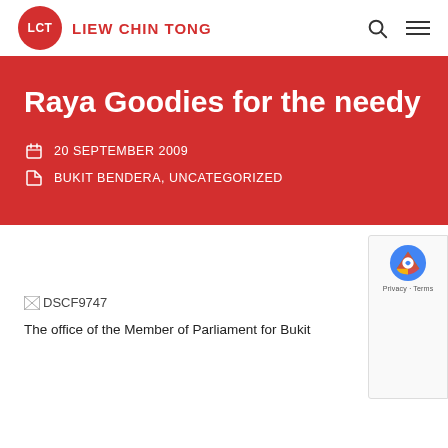LCT LIEW CHIN TONG
Raya Goodies for the needy
20 SEPTEMBER 2009
BUKIT BENDERA, UNCATEGORIZED
[Figure (photo): Broken image placeholder labeled DSCF9747]
The office of the Member of Parliament for Bukit